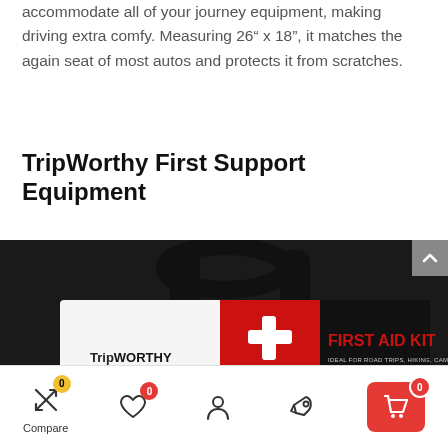accommodate all of your journey equipment, making driving extra comfy. Measuring 26" x 18", it matches the again seat of most autos and protects it from scratches.
TripWorthy First Support Equipment
[Figure (photo): TripWorthy First Aid Kit product photo showing a red and black first aid kit bag with handles. The kit label reads 'FIRST AID KIT – IDEAL FOR ROAD TRIPS, HIKING, CAMPING AND MORE' with a white cross logo and TripWorthy branding.]
Compare (0) | Wishlist (0) | Account | Explore | Cart (0)